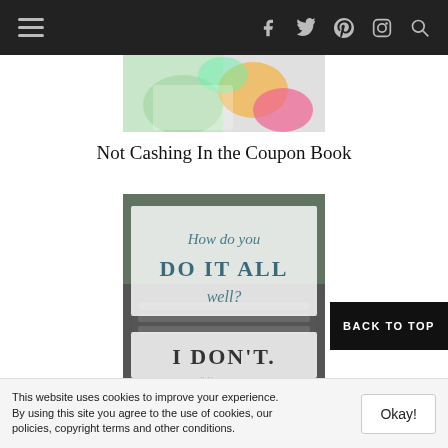Navigation bar with menu, facebook, twitter, pinterest, instagram, search icons
[Figure (photo): Partial image of colorful items (coupons/crafts) at top of page]
Not Cashing In the Coupon Book
[Figure (photo): Image with text overlay: 'How do you DO IT ALL well? I DON'T.']
Question: How Do You Do It All Well? I Don't.
BACK TO TOP
This website uses cookies to improve your experience. By using this site you agree to the use of cookies, our policies, copyright terms and other conditions.